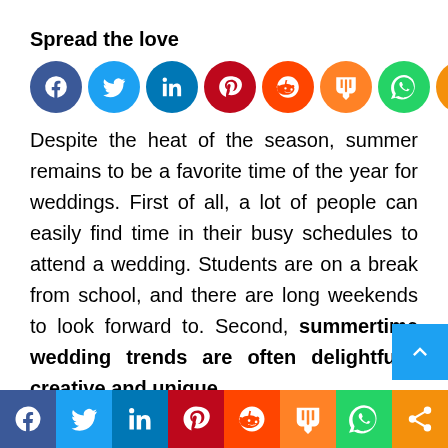Spread the love
[Figure (infographic): Row of 8 circular social media share icons: Facebook (blue), Twitter (light blue), LinkedIn (dark blue), Pinterest (red), Reddit (orange-red), Mix (orange), WhatsApp (green), Share (amber)]
Despite the heat of the season, summer remains to be a favorite time of the year for weddings. First of all, a lot of people can easily find time in their busy schedules to attend a wedding. Students are on a break from school, and there are long weekends to look forward to. Second, summertime wedding trends are often delightfully creative and unique.
So, if you are thinking of saying “I do” over the summer, you will surely delight in all the trends for the occasion. For 2020 and 2021, the following
[Figure (infographic): Bottom bar with 8 large social media icons: Facebook (dark blue), Twitter (light blue), LinkedIn (dark blue), Pinterest (red), Reddit (orange-red), Mix (orange), WhatsApp (green), Share (amber)]